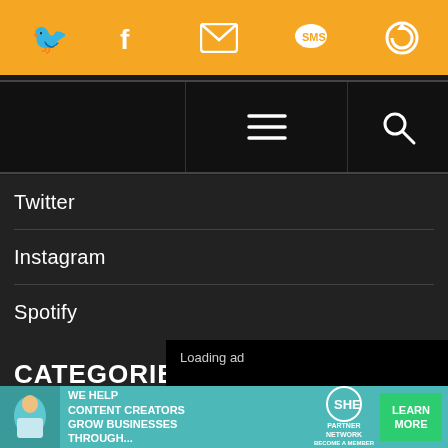[Figure (screenshot): Orange top bar with social media icons: Twitter bird, Facebook f, email envelope, SMS speech bubble, and a circular arrow/refresh icon — all white on orange background]
[Figure (screenshot): Black navigation bar with hamburger menu (three lines) in center and magnifying glass search icon on right]
Twitter
Instagram
Spotify
CATEGORIES
Music
[Figure (screenshot): Video ad overlay showing 'Loading ad' text with spinning loading indicator and playback controls (pause, fullscreen, mute) at bottom]
[Figure (screenshot): Bottom banner advertisement: 'WE HELP CONTENT CREATORS GROW BUSINESSES THROUGH...' with SHE PARTNER NETWORK logo and LEARN MORE green button]